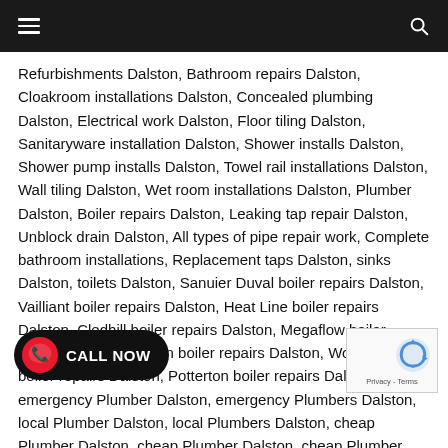Navigation header bar with hamburger menu and search icon
Refurbishments Dalston, Bathroom repairs Dalston, Cloakroom installations Dalston, Concealed plumbing Dalston, Electrical work Dalston, Floor tiling Dalston, Sanitaryware installation Dalston, Shower installs Dalston, Shower pump installs Dalston, Towel rail installations Dalston, Wall tiling Dalston, Wet room installations Dalston, Plumber Dalston, Boiler repairs Dalston, Leaking tap repair Dalston, Unblock drain Dalston, All types of pipe repair work, Complete bathroom installations, Replacement taps Dalston, sinks Dalston, toilets Dalston, Sanuier Duval boiler repairs Dalston, Vailliant boiler repairs Dalston, Heat Line boiler repairs Dalston, Cledhill boiler repairs Dalston, Megaflow boiler repairs Dalston, Keston boiler repairs Dalston, Worcester boiler repairs Dalston, Potterton boiler repairs Dalston, emergency Plumber Dalston, emergency Plumbers Dalston, local Plumber Dalston, local Plumbers Dalston, cheap Plumber Dalston, cheap Plumber Dalston, cheap Plumber, emergency Plumbers, local Plumbers, local Plumbers, cheap Plumber, cheap Plumbers, Plumber Dalston,